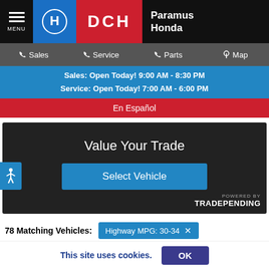MENU | HONDA | DCH | Paramus Honda
Sales  Service  Parts  Map
Sales: Open Today! 9:00 AM - 8:30 PM
Service: Open Today! 7:00 AM - 6:00 PM
En Español
[Figure (screenshot): Value Your Trade widget with 'Select Vehicle' blue button and POWERED BY TRADEPENDING logo]
78 Matching Vehicles:  Highway MPG: 30-34  ✕
This site uses cookies.  OK